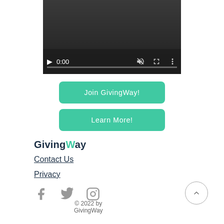[Figure (screenshot): Video player with dark background, showing controls: play button, timestamp 0:00, mute icon, fullscreen icon, more options icon, and a progress bar at the bottom.]
Join GivingWay!
Learn More!
GivingWay
Contact Us
Privacy
[Figure (illustration): Social media icons: Facebook, Twitter, Instagram in gray]
© 2022 by GivingWay